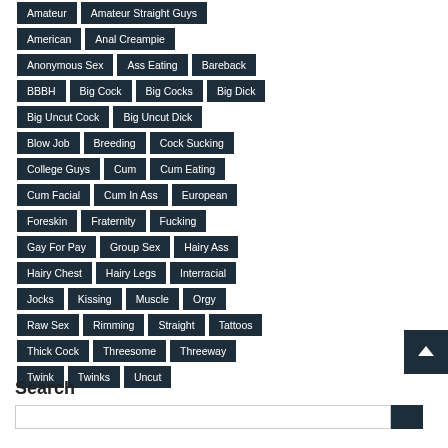Amateur
Amateur Straight Guys
American
Anal Creampie
Anonymous Sex
Ass Eating
Bareback
BBBH
Big Cock
Big Cocks
Big Dick
Big Uncut Cock
Big Uncut Dick
Blow Job
Breeding
Cock Sucking
College Guys
Cum
Cum Eating
Cum Facial
Cum In Ass
European
Foreskin
Fraternity
Fucking
Gay For Pay
Group Sex
Hairy Ass
Hairy Chest
Hairy Legs
Interracial
Jocks
Kissing
Muscle
Orgy
Raw Sex
Rimming
Straight
Tattoos
Thick Cock
Threesome
Threeway
Twink
Twinks
Uncut
Search